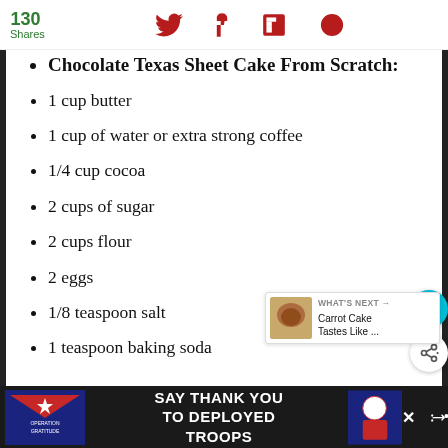130 Shares
Chocolate Texas Sheet Cake From Scratch:
1 cup butter
1 cup of water or extra strong coffee
1/4 cup cocoa
2 cups of sugar
2 cups flour
2 eggs
1/8 teaspoon salt
1 teaspoon baking soda
WHAT'S NEXT → Carrot Cake Tastes Like ...
SAY THANK YOU TO DEPLOYED TROOPS